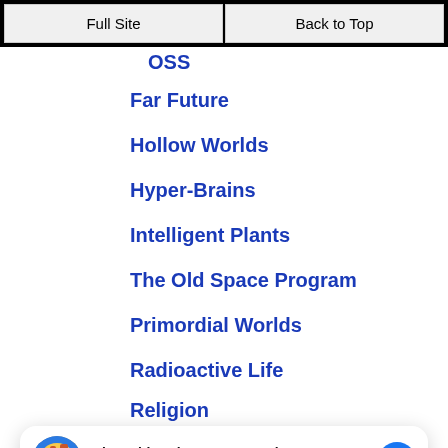Full Site | Back to Top
OSS
Far Future
Hollow Worlds
Hyper-Brains
Intelligent Plants
The Old Space Program
Primordial Worlds
Radioactive Life
Religion
[Figure (infographic): Chat widget overlay: Chat with Solar System Heritage. Hi! How can we help you? With messenger icon button.]
Time Travel And Reality